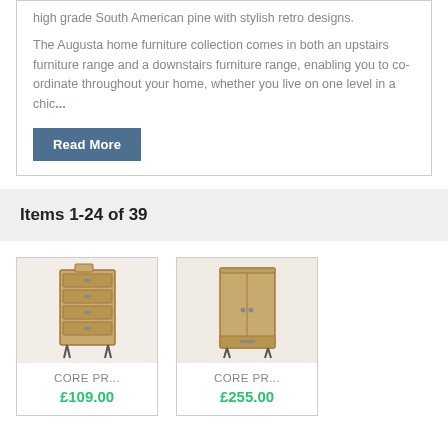high grade South American pine with stylish retro designs.
The Augusta home furniture collection comes in both an upstairs furniture range and a downstairs furniture range, enabling you to co-ordinate throughout your home, whether you live on one level in a chic....
Read More
Items 1-24 of 39
[Figure (photo): Wooden chest of drawers with hairpin legs, retro style pine furniture]
CORE PR...
£109.00
[Figure (photo): Wooden wardrobe with single door and bottom drawer, pine furniture with hairpin legs]
CORE PR...
£255.00